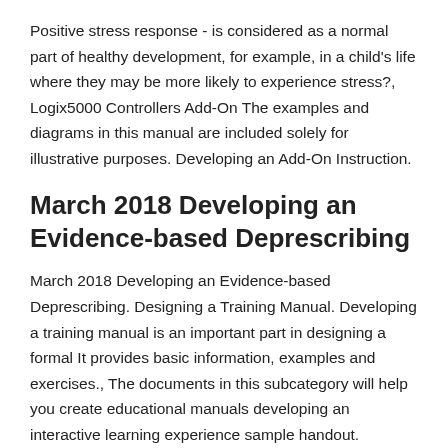Positive stress response - is considered as a normal part of healthy development, for example, in a child's life where they may be more likely to experience stress?, Logix5000 Controllers Add-On The examples and diagrams in this manual are included solely for illustrative purposes. Developing an Add-On Instruction.
March 2018 Developing an Evidence-based Deprescribing
March 2018 Developing an Evidence-based Deprescribing. Designing a Training Manual. Developing a training manual is an important part in designing a formal It provides basic information, examples and exercises., The documents in this subcategory will help you create educational manuals developing an interactive learning experience sample handout. Curriculum.